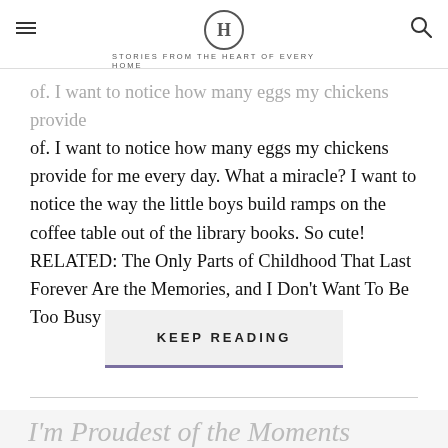H — STORIES FROM THE HEART OF EVERY HOME
of. I want to notice how many eggs my chickens provide for me every day. What a miracle? I want to notice the way the little boys build ramps on the coffee table out of the library books. So cute! RELATED: The Only Parts of Childhood That Last Forever Are the Memories, and I Don't Want To Be Too Busy To Make Them With You I…
KEEP READING
I'm Proudest of the Moments...